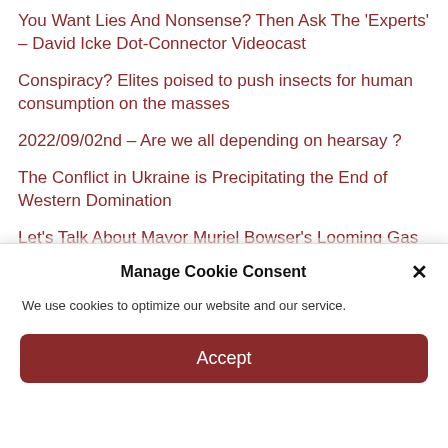You Want Lies And Nonsense? Then Ask The ‘Experts’ – David Icke Dot-Connector Videocast
Conspiracy? Elites poised to push insects for human consumption on the masses
2022/09/02nd – Are we all depending on hearsay ?
The Conflict in Ukraine is Precipitating the End of Western Domination
Let’s Talk About Mayor Muriel Bowser’s Looming Gas Pains
As America Self-Destructs With Green Energy, China Preps For War With Coal
Manage Cookie Consent
We use cookies to optimize our website and our service.
Accept